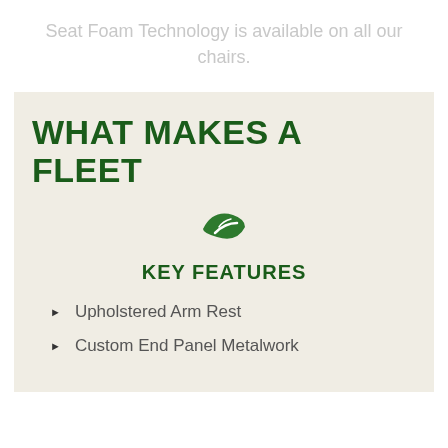Seat Foam Technology is available on all our chairs.
WHAT MAKES A FLEET
[Figure (logo): Green oval/leaf logo icon]
KEY FEATURES
Upholstered Arm Rest
Custom End Panel Metalwork